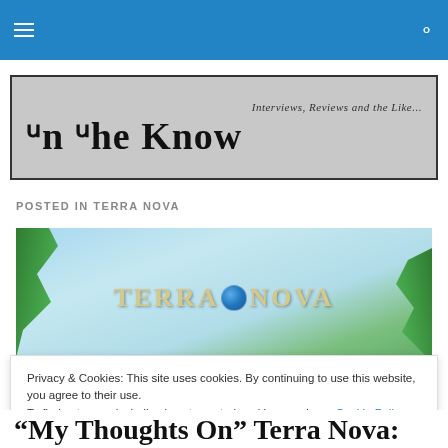In The Know — navigation bar
[Figure (logo): In The Know blog banner with cursive decorative title 'In The Know' and subtitle 'Interviews, Reviews and the Like...' on grey background]
POSTED IN TERRA NOVA
[Figure (photo): Terra Nova TV show banner with stylized logo text 'Terra Nova' with a globe replacing the 'o', tropical foliage on left and right sides, sky blue background]
Privacy & Cookies: This site uses cookies. By continuing to use this website, you agree to their use.
To find out more, including how to control cookies, see here: Cookie Policy
Close and accept
“My Thoughts On” Terra Nova: